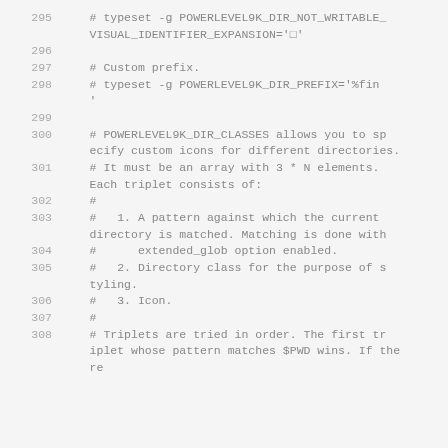295    # typeset -g POWERLEVEL9K_DIR_NOT_WRITABLE_VISUAL_IDENTIFIER_EXPANSION='□'
296
297    # Custom prefix.
298    # typeset -g POWERLEVEL9K_DIR_PREFIX='%fin
'
299
300    # POWERLEVEL9K_DIR_CLASSES allows you to specify custom icons for different directories.
301    # It must be an array with 3 * N elements. Each triplet consists of:
302    #
303    #   1. A pattern against which the current directory is matched. Matching is done with
304    #      extended_glob option enabled.
305    #   2. Directory class for the purpose of styling.
306    #   3. Icon.
307    #
308    # Triplets are tried in order. The first triplet whose pattern matches $PWD wins. If the
re